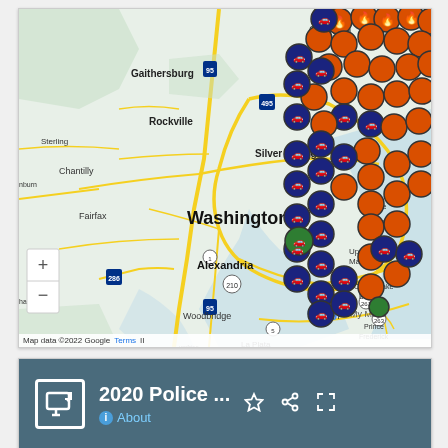[Figure (map): Google My Maps screenshot showing the Washington DC metro area including Gaithersburg, Rockville, Silver Spring, Washington, Alexandria, Fairfax, Chantilly, Sterling, Woodbridge, Waldorf, La Plata, Upper Marlboro, Chesapeake Beach, and surrounding areas. The map displays numerous orange fire/incident markers and dark navy blue car/vehicle markers clustered in the northeastern quadrant of the map (upper right), and some green markers. A cluster of navy blue car markers appears in the lower-center-right area near Upper Marlboro. Map data ©2022 Google. Zoom controls (+/-) visible at lower left.]
[Figure (screenshot): Google My Maps panel showing title '2020 Police ...' with a star icon, share icon, and expand icon. Below the title is an 'About' link with an info icon. The panel background is a dark teal/slate color (#4a6b7c). An icon of a screen with an arrow is shown to the left of the title.]